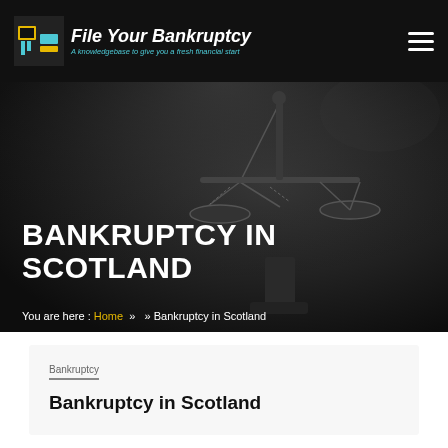File Your Bankruptcy — A knowledgebase to give you a fresh financial start
[Figure (photo): Dark background image showing scales of justice (balance/libra) in black and white, dramatic lighting]
BANKRUPTCY IN SCOTLAND
You are here : Home » » Bankruptcy in Scotland
Bankruptcy
Bankruptcy in Scotland